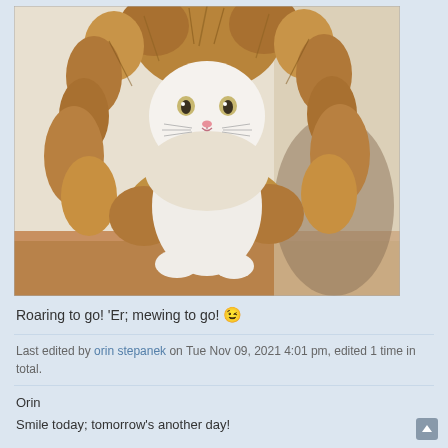[Figure (photo): A white cat wearing a fluffy lion mane costume, sitting upright and looking at the camera]
Roaring to go! 'Er; mewing to go! 😉
Last edited by orin stepanek on Tue Nov 09, 2021 4:01 pm, edited 1 time in total.
Orin
Smile today; tomorrow's another day!